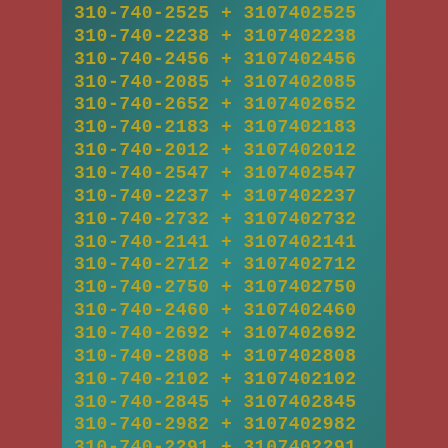310-740-2525 + 3107402525
310-740-2238 + 3107402238
310-740-2456 + 3107402456
310-740-2085 + 3107402085
310-740-2652 + 3107402652
310-740-2183 + 3107402183
310-740-2012 + 3107402012
310-740-2547 + 3107402547
310-740-2237 + 3107402237
310-740-2732 + 3107402732
310-740-2141 + 3107402141
310-740-2712 + 3107402712
310-740-2750 + 3107402750
310-740-2460 + 3107402460
310-740-2692 + 3107402692
310-740-2808 + 3107402808
310-740-2102 + 3107402102
310-740-2845 + 3107402845
310-740-2982 + 3107402982
310-740-2291 + 3107402291
310-740-2124 + 3107402124
310-740-2718 + 3107402718
310-740-2342 + 3107402342